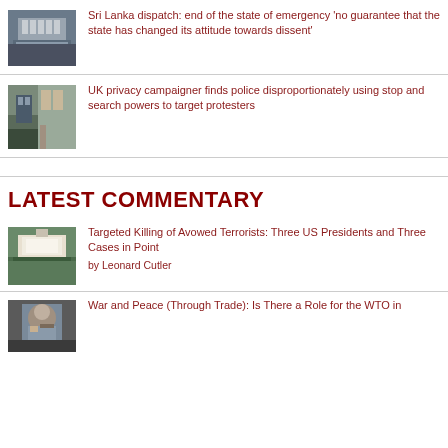[Figure (photo): Crowd gathered in front of a large classical building]
Sri Lanka dispatch: end of the state of emergency ‘no guarantee that the state has changed its attitude towards dissent’
[Figure (photo): Military or police personnel on a street]
UK privacy campaigner finds police disproportionately using stop and search powers to target protesters
LATEST COMMENTARY
[Figure (photo): White House exterior with lawn]
Targeted Killing of Avowed Terrorists: Three US Presidents and Three Cases in Point
by Leonard Cutler
[Figure (photo): Military figure portrait]
War and Peace (Through Trade): Is There a Role for the WTO in